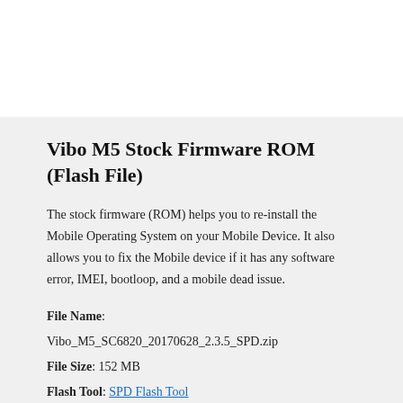Vibo M5 Stock Firmware ROM (Flash File)
The stock firmware (ROM) helps you to re-install the Mobile Operating System on your Mobile Device. It also allows you to fix the Mobile device if it has any software error, IMEI, bootloop, and a mobile dead issue.
File Name: Vibo_M5_SC6820_20170628_2.3.5_SPD.zip
File Size: 152 MB
Flash Tool: SPD Flash Tool
How to Flash: Follow Tutorial